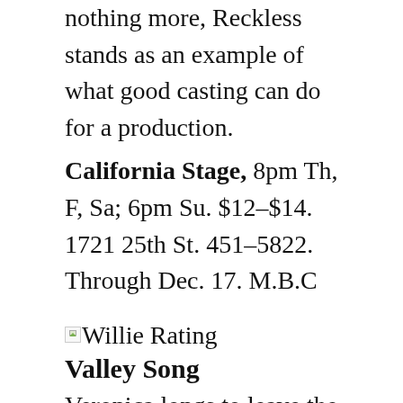nothing more, Reckless stands as an example of what good casting can do for a production.
California Stage, 8pm Th, F, Sa; 6pm Su. $12–$14. 1721 25th St. 451–5822. Through Dec. 17. M.B.C
[Figure (other): Willie Rating star/award icon (broken image placeholder)]
Valley Song
Veronica longs to leave the family farm in the Karroo Valley of South Africa to pursue her dream of a singing career in Johannesburg. Her aging grandfather, Buks, in a misguided effort to keep her